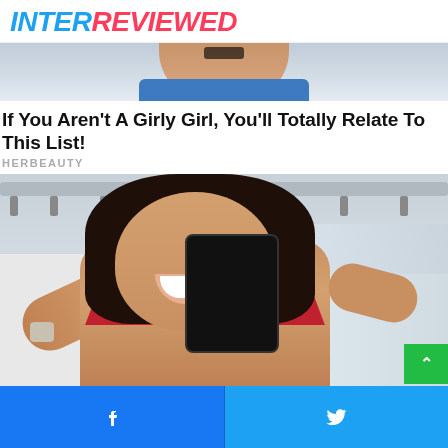INTERREVIEWED
[Figure (photo): Cropped top portion of a person's face and blue shirt, partially visible at top of page]
If You Aren't A Girly Girl, You'll Totally Relate To This List!
HERBEAUTY
[Figure (photo): A fit woman in a red sports bra taking a mirror selfie at the gym, flexing her arm and smiling]
[Figure (infographic): Social share bar at the bottom with Facebook and Twitter buttons]